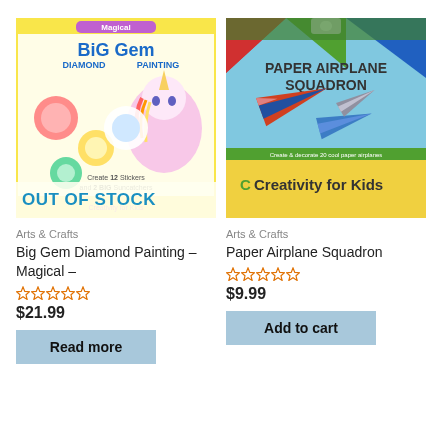[Figure (photo): Big Gem Diamond Painting – Magical product box with colorful unicorn artwork and 'OUT OF STOCK' overlay]
Arts & Crafts
Big Gem Diamond Painting – Magical –
☆☆☆☆☆
$21.99
Read more
[Figure (photo): Paper Airplane Squadron product box by Creativity for Kids with colorful paper airplanes illustration]
Arts & Crafts
Paper Airplane Squadron
☆☆☆☆☆
$9.99
Add to cart